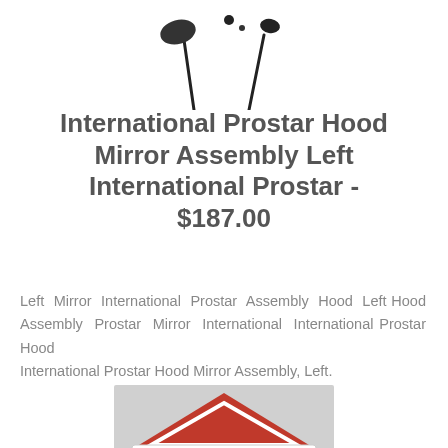[Figure (illustration): Product image of a hood mirror assembly, showing two mirror components on arms against a white background]
International Prostar Hood Mirror Assembly Left International Prostar - $187.00
Left Mirror International Prostar Assembly Hood Left Hood Assembly Prostar Mirror International International Prostar Hood
International Prostar Hood Mirror Assembly, Left.
[Figure (logo): Last Chance Parts logo: red triangular roof shape above a white sign board reading LAST CHANCE PARTS]